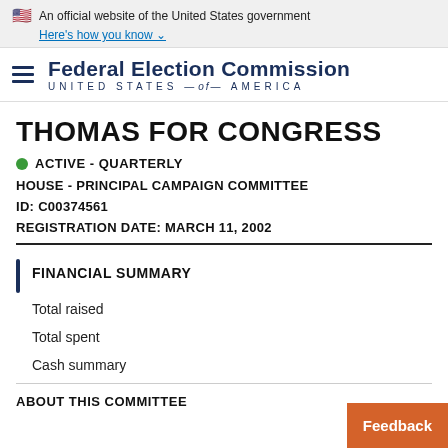An official website of the United States government Here's how you know
Federal Election Commission UNITED STATES — of — AMERICA
THOMAS FOR CONGRESS
ACTIVE - QUARTERLY
HOUSE - PRINCIPAL CAMPAIGN COMMITTEE
ID: C00374561
REGISTRATION DATE: MARCH 11, 2002
FINANCIAL SUMMARY
Total raised
Total spent
Cash summary
ABOUT THIS COMMITTEE